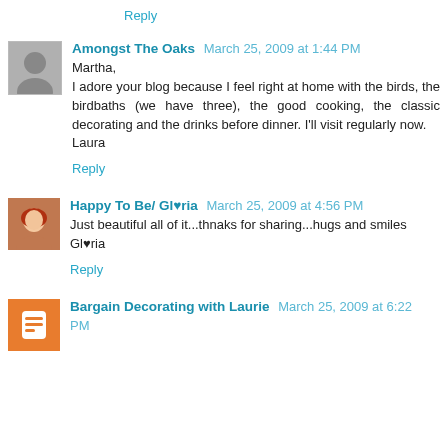Reply
Amongst The Oaks  March 25, 2009 at 1:44 PM
Martha,
I adore your blog because I feel right at home with the birds, the birdbaths (we have three), the good cooking, the classic decorating and the drinks before dinner. I'll visit regularly now.
Laura
Reply
Happy To Be/ Gl♥ria  March 25, 2009 at 4:56 PM
Just beautiful all of it...thnaks for sharing...hugs and smiles
Gl♥ria
Reply
Bargain Decorating with Laurie  March 25, 2009 at 6:22 PM